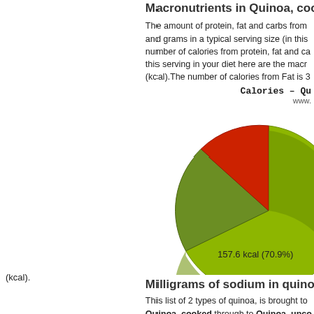Macronutrients in Quinoa, cooked
The amount of protein, fat and carbs from and grams in a typical serving size (in this number of calories from protein, fat and ca this serving in your diet here are the macr (kcal).The number of calories from Fat is 3
[Figure (pie-chart): Pie chart showing macronutrient calories in quinoa cooked. Carbs: 70.9% (green), Protein small slice, Fat small red slice.]
(kcal).
157.6 kcal (70.9%)
Milligrams of sodium in quinoa (p
This list of 2 types of quinoa, is brought to Quinoa, cooked through to Quinoa, unco amount per 100g. The nutritional sodium c serving sizes. Simply click on a food item o full dietary nutritional breakdown to answe
The list below gives the total sodium conte which show the sodium amount as well as